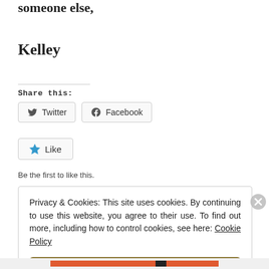someone else,
Kelley
Share this:
[Figure (other): Twitter and Facebook share buttons]
[Figure (other): Like button with star icon]
Be the first to like this.
Privacy & Cookies: This site uses cookies. By continuing to use this website, you agree to their use. To find out more, including how to control cookies, see here: Cookie Policy
Close and accept